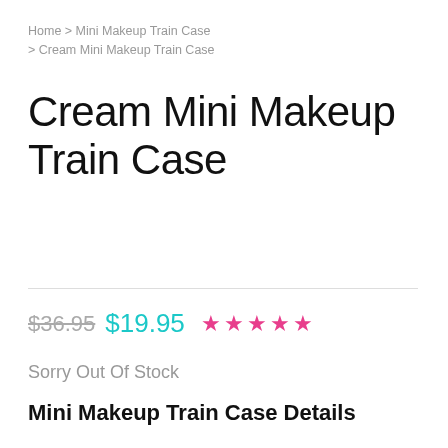Home > Mini Makeup Train Case > Cream Mini Makeup Train Case
Cream Mini Makeup Train Case
$36.95  $19.95  ★★★★★
Sorry Out Of Stock
Mini Makeup Train Case Details